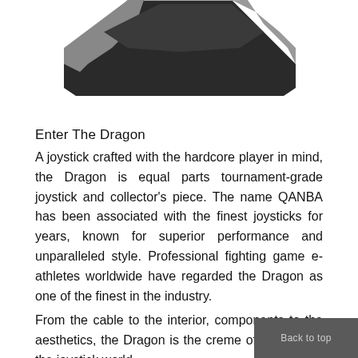[Figure (photo): Partial top view of a black and silver gaming joystick/arcade stick (Qanba Dragon), showing the upper body and edges of the device against a white background]
Enter The Dragon
A joystick crafted with the hardcore player in mind, the Dragon is equal parts tournament-grade joystick and collector's piece. The name QANBA has been associated with the finest joysticks for years, known for superior performance and unparalleled style. Professional fighting game e-athletes worldwide have regarded the Dragon as one of the finest in the industry.
From the cable to the interior, components to the aesthetics, the Dragon is the creme of the crop in the joystick world.
Premium Japanese Arcade Joystick & Buttons